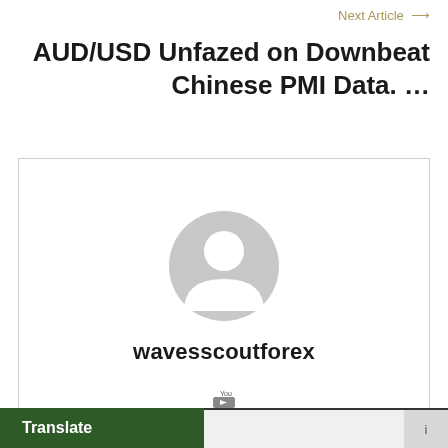Next Article →
AUD/USD Unfazed on Downbeat Chinese PMI Data. …
[Figure (other): Author profile card showing a generic grey user avatar icon and the username 'wavesscoutforex' with a small YouTube icon below]
Translate